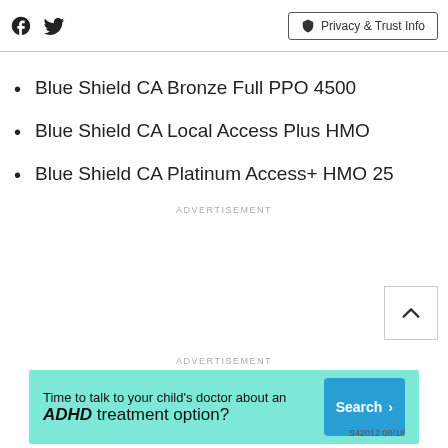Facebook | Twitter | Privacy & Trust Info
Blue Shield CA Bronze Full PPO 4500
Blue Shield CA Local Access Plus HMO
Blue Shield CA Platinum Access+ HMO 25
ADVERTISEMENT
ADVERTISEMENT
[Figure (other): Advertisement banner: Time to talk to your child's doctor about an ADHD treatment option? Search button. S42012 08/18]